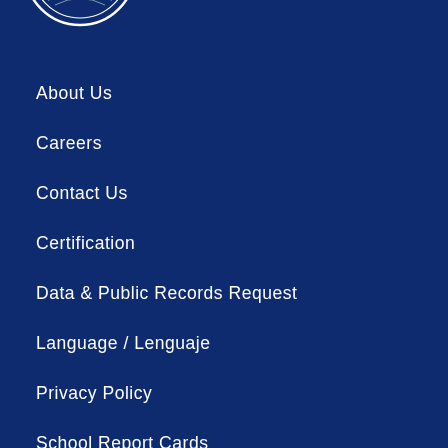[Figure (logo): Partial circular logo/seal at top left, white on dark blue background]
About Us
Careers
Contact Us
Certification
Data & Public Records Request
Language / Lenguaje
Privacy Policy
School Report Cards